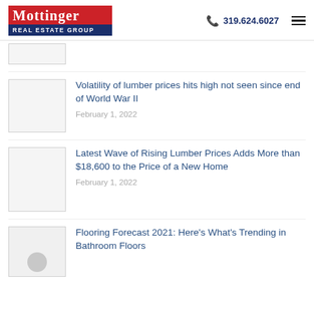[Figure (logo): Mottinger Real Estate Group logo with red top bar and navy blue bottom bar]
319.624.6027
[Figure (photo): Thumbnail image placeholder (partial, top article)]
[Figure (photo): Thumbnail image placeholder for lumber prices article]
Volatility of lumber prices hits high not seen since end of World War II
February 1, 2022
[Figure (photo): Thumbnail image placeholder for rising lumber prices article]
Latest Wave of Rising Lumber Prices Adds More than $18,600 to the Price of a New Home
February 1, 2022
[Figure (photo): Thumbnail image placeholder for flooring forecast article with circle icon]
Flooring Forecast 2021: Here's What's Trending in Bathroom Floors